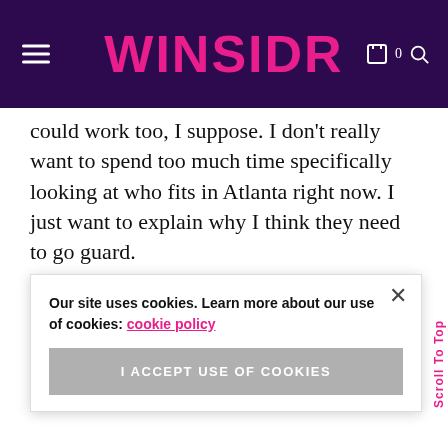WINSIDR
could work too, I suppose. I don't really want to spend too much time specifically looking at who fits in Atlanta right now. I just want to explain why I think they need to go guard.
Courtney Williams is fun, and good at basketball, and is going to have a strong 2021 season. She's also a free agent after this upcoming year and will be entering [a big] [if they mis] [e will. May] [ckup plan,] and bring in a top guard can ensure this team has a
Our site uses cookies. Learn more about our use of cookies: cookie policy
I ACCEPT USE OF COOKIES
Scroll To Top